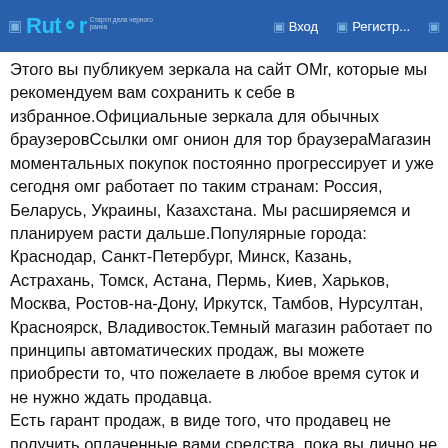Rutor — Вход — Регистр...
Этого вы публикуем зеркала на сайт OMr, которые мы рекомендуем вам сохранить к себе в избранное.Официальные зеркала для обычных браузеровСсылки омг онион для тор браузераМагазин моментальных покупок постоянно прогрессирует и уже сегодня омг работает по таким странам: Россия, Беларусь, Украины, Казахстана. Мы расширяемся и планируем расти дальше.Популярные города: Краснодар, Санкт-Петербург, Минск, Казань, Астрахань, Томск, Астана, Пермь, Киев, Харьков, Москва, Ростов-на-Дону, Иркутск, Тамбов, Нурсултан, Красноярск, Владивосток.Темный магазин работает по принципы автоматических продаж, вы можете приобрести то, что пожелаете в любое время суток и не нужно ждать продавца.
Есть гарант продаж, в виде того, что продавец не получить оплаченные вами средства, пока вы лично не подтвердите «наход» закладки. На omg работает техническая поддержка круглосуточно, поэтому по всем интересующим вопросам на тему Гидры, вы можете обратиться к ним. Вам обязательно помогут и в случае если у вас какие-то проблемы с